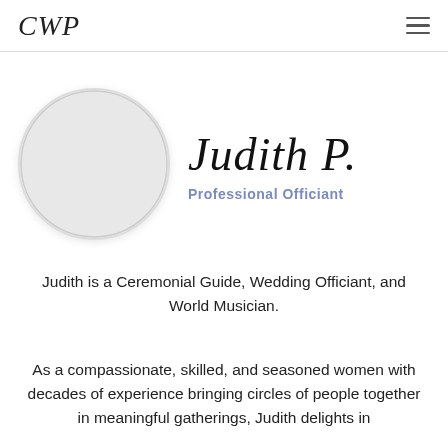CWP
[Figure (illustration): Circular avatar placeholder image with light gray fill]
Judith P.
Professional Officiant
Judith is a Ceremonial Guide, Wedding Officiant, and World Musician.
As a compassionate, skilled, and seasoned women with decades of experience bringing circles of people together in meaningful gatherings, Judith delights in